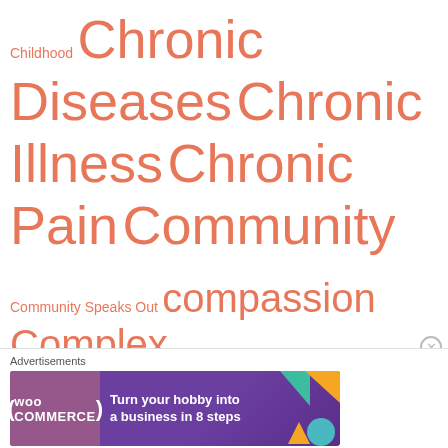[Figure (infographic): Tag cloud of health and community-related terms in salmon/coral color on white background, with varying font sizes indicating frequency/importance. Terms include: Childhood, Chronic Diseases, Chronic Illness, Chronic Pain, Community, Community Speaks Out, compassion, Complex Regional Pain Syndrome, Connecticut, courage, CRPS, CT, faith, family, fighting, fitch high school, forever changed, generations, Groton, hard to say goodbye, Heart, heartbroken, honor, honored, hope, how you can help, inspire, inspire a nation, inspire each other, inspire one]
Advertisements
[Figure (screenshot): WooCommerce advertisement banner: purple background with teal and orange geometric shapes, WooCommerce logo on left, text: Turn your hobby into a business in 8 steps]